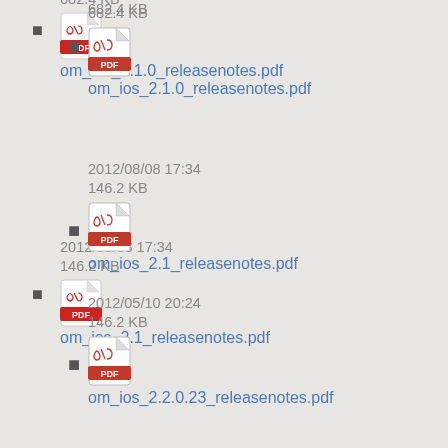682.4 KB
om_ios_2.1.0_releasenotes.pdf
2012/08/08 17:34
146.2 KB
om_ios_2.1_releasenotes.pdf
2012/05/10 20:24
146.2 KB
om_ios_2.2.0.23_releasenotes.pdf
2012/08/08 17:41
156.2 KB
om_ios_2.2.0.100_releasenotes.pdf